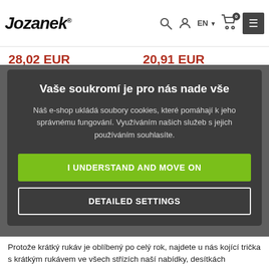Jozanek
28,02 EUR   20,91 EUR
Vaše soukromí je pro nás nade vše
Náš e-shop ukládá soubory cookies, které pomáhají k jeho správnému fungování. Využíváním našich služeb s jejich používáním souhlasíte.
I UNDERSTAND AND MOVE ON
DETAILED SETTINGS
1  2
Protože krátký rukáv je oblíbený po celý rok, najdete u nás kojící trička s krátkým rukávem ve všech střízích naší nabídky, desítkách